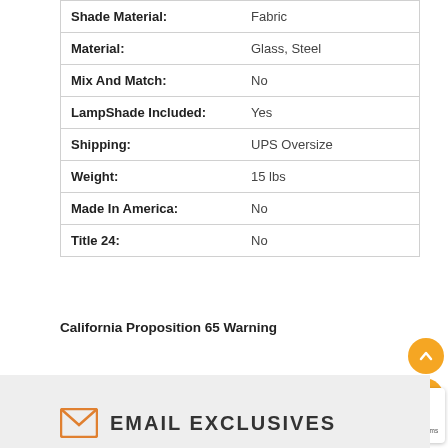| Property | Value |
| --- | --- |
| Shade Material: | Fabric |
| Material: | Glass, Steel |
| Mix And Match: | No |
| LampShade Included: | Yes |
| Shipping: | UPS Oversize |
| Weight: | 15 lbs |
| Made In America: | No |
| Title 24: | No |
California Proposition 65 Warning
EMAIL EXCLUSIVES